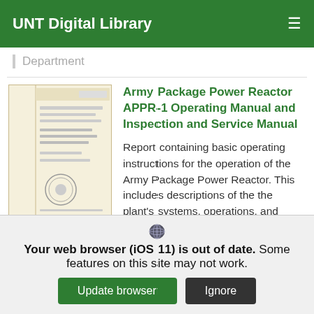UNT Digital Library
Department
Army Package Power Reactor APPR-1 Operating Manual and Inspection and Service Manual
Report containing basic operating instructions for the operation of the Army Package Power Reactor. This includes descriptions of the the plant's systems, operations, and safety
open access
[Figure (screenshot): Thumbnail image of a scanned document cover page]
Your web browser (iOS 11) is out of date. Some features on this site may not work.